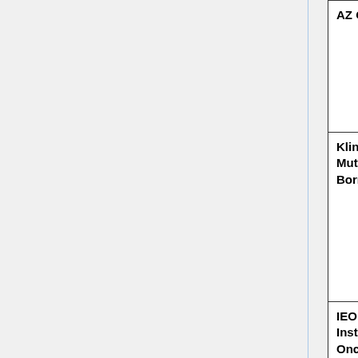| Site | Profile | dates active |
| --- | --- | --- |
| AZ Groeninge | FDG-PET/CT Profile (ver2016) | April 22, 20… – April 22, 2023 |
| Klinikum Mutterhaus der Borromäerinnen | FDG-PET/CT Profile (ver2016) | April 22, 20… – April 22, 2023 |
| IEO European Institute of Oncology | FDG-PET/CT Profile (ver2016) | April 26, 20… - April 26, 2023 |
| University of Pisa | FDG-PET/CT Profile (ver2016) | April 26, 20… - April 26, 2023 |
| Site | Profile (ver-year) | dates active |